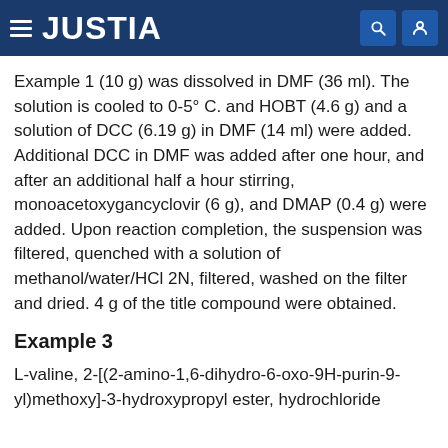JUSTIA
Example 1 (10 g) was dissolved in DMF (36 ml). The solution is cooled to 0-5° C. and HOBT (4.6 g) and a solution of DCC (6.19 g) in DMF (14 ml) were added. Additional DCC in DMF was added after one hour, and after an additional half a hour stirring, monoacetoxygancyclovir (6 g), and DMAP (0.4 g) were added. Upon reaction completion, the suspension was filtered, quenched with a solution of methanol/water/HCl 2N, filtered, washed on the filter and dried. 4 g of the title compound were obtained.
Example 3
L-valine, 2-[(2-amino-1,6-dihydro-6-oxo-9H-purin-9-yl)methoxy]-3-hydroxypropyl ester, hydrochloride